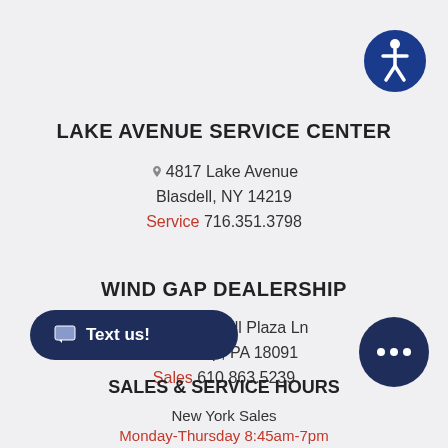[Figure (logo): Accessibility icon - blue circle with white person figure]
LAKE AVENUE SERVICE CENTER
4817 Lake Avenue Blasdell, NY 14219 Service 716.351.3798
WIND GAP DEALERSHIP
489 Bushkill Plaza Ln Wind Gap, PA 18091 Sales 610.863.5239
[Figure (other): Text us! button - dark navy rounded rectangle with chat icon]
[Figure (other): Chat bubble icon - dark navy circle with three dots]
SALES & SERVICE HOURS
New York Sales
Monday-Thursday 8:45am-7pm